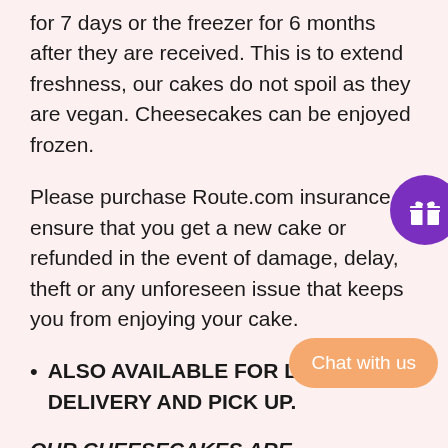for 7 days or the freezer for 6 months after they are received. This is to extend freshness, our cakes do not spoil as they are vegan. Cheesecakes can be enjoyed frozen.
Please purchase Route.com insurance to ensure that you get a new cake or refunded in the event of damage, delay, theft or any unforeseen issue that keeps you from enjoying your cake.
ALSO AVAILABLE FOR LOCAL DELIVERY AND PICK UP.
OUR CHEESECAKES ARE MADE TO ORDER SO WE NEED SOMETIME TO MAKE IT